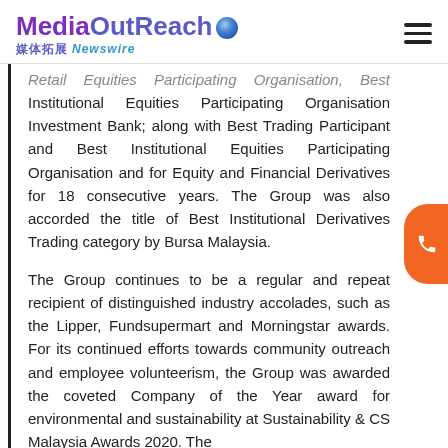MediaOutReach 媒体拓展 Newswire
Retail Equities Participating Organisation, Best Institutional Equities Participating Organisation Investment Bank; along with Best Trading Participant and Best Institutional Equities Participating Organisation and for Equity and Financial Derivatives for 18 consecutive years. The Group was also accorded the title of Best Institutional Derivatives Trading category by Bursa Malaysia.
The Group continues to be a regular and repeat recipient of distinguished industry accolades, such as the Lipper, Fundsupermart and Morningstar awards. For its continued efforts towards community outreach and employee volunteerism, the Group was awarded the coveted Company of the Year award for environmental and sustainability at Sustainability & CS Malaysia Awards 2020. The